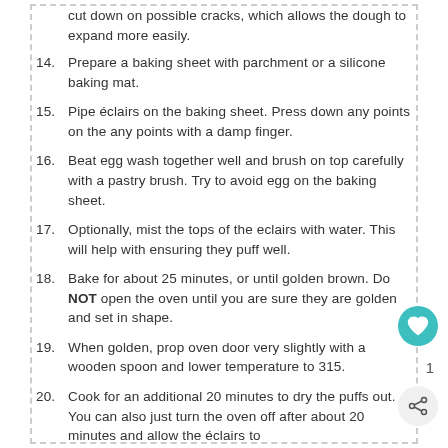cut down on possible cracks, which allows the dough to expand more easily.
14. Prepare a baking sheet with parchment or a silicone baking mat.
15. Pipe éclairs on the baking sheet. Press down any points on the any points with a damp finger.
16. Beat egg wash together well and brush on top carefully with a pastry brush. Try to avoid egg on the baking sheet.
17. Optionally, mist the tops of the eclairs with water. This will help with ensuring they puff well.
18. Bake for about 25 minutes, or until golden brown. Do NOT open the oven until you are sure they are golden and set in shape.
19. When golden, prop oven door very slightly with a wooden spoon and lower temperature to 315.
20. Cook for an additional 20 minutes to dry the puffs out. You can also just turn the oven off after about 20 minutes and allow the éclairs to